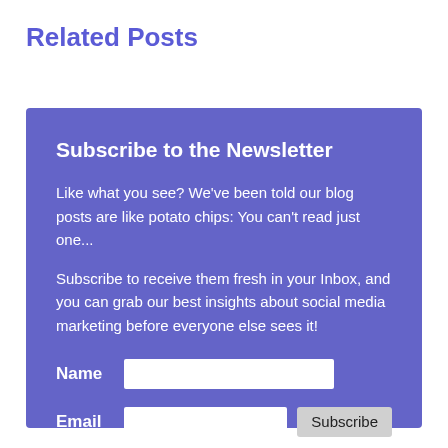Related Posts
Subscribe to the Newsletter
Like what you see? We've been told our blog posts are like potato chips: You can't read just one...
Subscribe to receive them fresh in your Inbox, and you can grab our best insights about social media marketing before everyone else sees it!